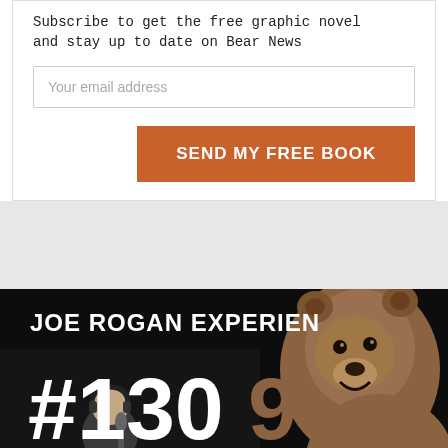Subscribe to get the free graphic novel and stay up to date on Bear News
Your email address
SEND MY FREE BOOK
[Figure (photo): Joe Rogan Experience #1309 thumbnail with a man wearing headphones at a microphone and a bear on a dark background, with an orange 'Entertainment' tag in the lower left corner]